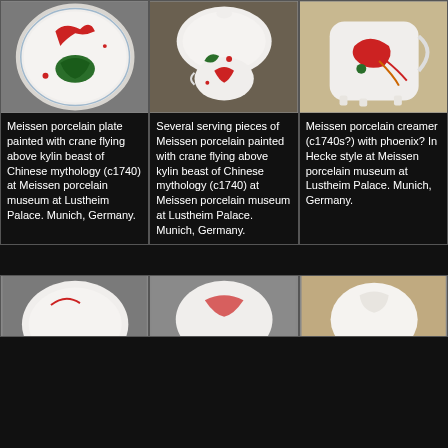[Figure (photo): Meissen porcelain plate painted with crane flying above kylin beast, white plate with decorative blue border and colorful bird/creature motif]
Meissen porcelain plate painted with crane flying above kylin beast of Chinese mythology (c1740) at Meissen porcelain museum at Lustheim Palace. Munich, Germany.
[Figure (photo): Several serving pieces of Meissen porcelain painted with crane flying above kylin beast, white teapot/serving set on wooden surface]
Several serving pieces of Meissen porcelain painted with crane flying above kylin beast of Chinese mythology (c1740) at Meissen porcelain museum at Lustheim Palace. Munich, Germany.
[Figure (photo): Meissen porcelain creamer with phoenix or bird design, white vessel with colorful bird motif and handle]
Meissen porcelain creamer (c1740s?) with phoenix? In Hecke style at Meissen porcelain museum at Lustheim Palace. Munich, Germany.
[Figure (photo): Bottom left partial photo of Meissen porcelain piece]
[Figure (photo): Bottom center partial photo of Meissen porcelain piece]
[Figure (photo): Bottom right partial photo of Meissen porcelain piece]